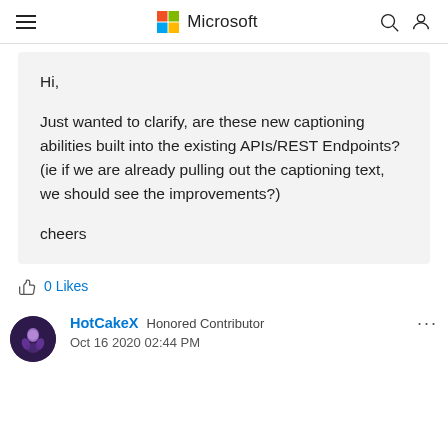Microsoft
Hi,

Just wanted to clarify, are these new captioning abilities built into the existing APIs/REST Endpoints? (ie if we are already pulling out the captioning text, we should see the improvements?)

cheers
0 Likes
HotCakeX Honored Contributor
Oct 16 2020 02:44 PM